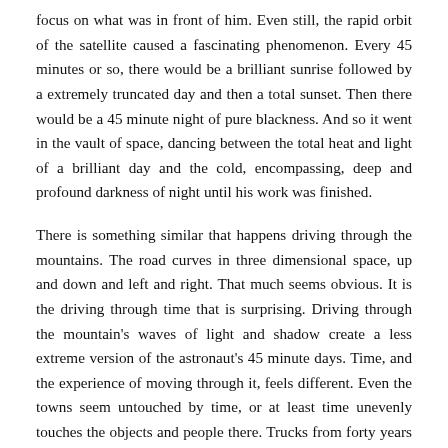focus on what was in front of him. Even still, the rapid orbit of the satellite caused a fascinating phenomenon. Every 45 minutes or so, there would be a brilliant sunrise followed by a extremely truncated day and then a total sunset. Then there would be a 45 minute night of pure blackness. And so it went in the vault of space, dancing between the total heat and light of a brilliant day and the cold, encompassing, deep and profound darkness of night until his work was finished.
There is something similar that happens driving through the mountains. The road curves in three dimensional space, up and down and left and right. That much seems obvious. It is the driving through time that is surprising. Driving through the mountain's waves of light and shadow create a less extreme version of the astronaut's 45 minute days. Time, and the experience of moving through it, feels different. Even the towns seem untouched by time, or at least time unevenly touches the objects and people there. Trucks from forty years ago parked next to cars of 2018. The nonchalant and puerile faces of Boulder are mixed in with the hard-living lines and creases in the smaller towns. It gives off a feeling of the unreal and uncanny to everything. Life seems like an illusion. A